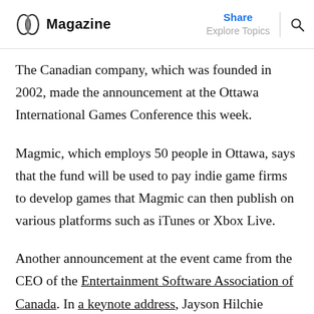Magazine | Share | Explore Topics
The Canadian company, which was founded in 2002, made the announcement at the Ottawa International Games Conference this week.
Magmic, which employs 50 people in Ottawa, says that the fund will be used to pay indie game firms to develop games that Magmic can then publish on various platforms such as iTunes or Xbox Live.
Another announcement at the event came from the CEO of the Entertainment Software Association of Canada. In a keynote address, Jayson Hilchie revealed new research regarding Canada's videogame industry: Canada has 329 videogame studios employing 16,500 full-time workers that generate more than $2.3 billion in GDP annually for